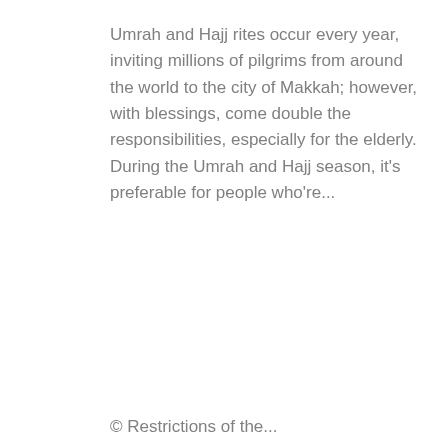Umrah and Hajj rites occur every year, inviting millions of pilgrims from around the world to the city of Makkah; however, with blessings, come double the responsibilities, especially for the elderly. During the Umrah and Hajj season, it's preferable for people who're...
© Restrictions of the...